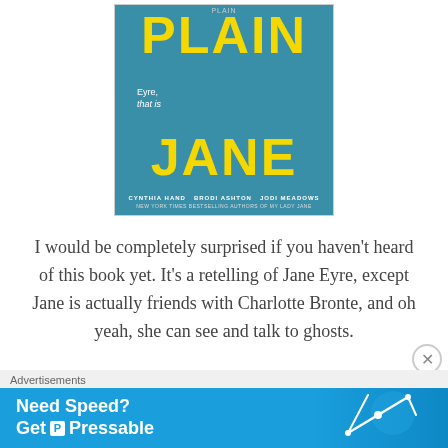[Figure (illustration): Book cover for 'Plain Jane (Eyre, that is)' by Cynthia Hand, Brodi Ashton, Jodi Meadows. Blue background with large yellow text 'PLAIN' at top and 'JANE' at bottom, with a woman's face partially visible in the middle. White handwritten-style text reads 'Eyre, that is' with an arrow.]
I would be completely surprised if you haven't heard of this book yet. It's a retelling of Jane Eyre, except Jane is actually friends with Charlotte Bronte, and oh yeah, she can see and talk to ghosts.
Advertisements
Need Speed? Get Pressable